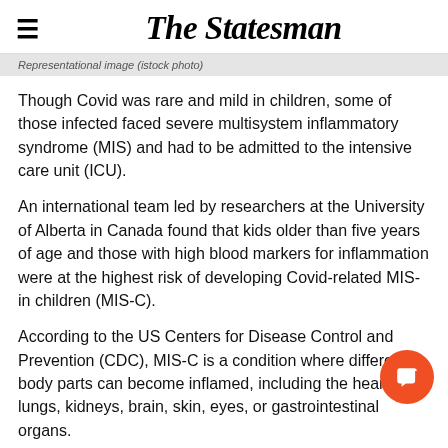The Statesman
Representational image (istock photo)
Though Covid was rare and mild in children, some of those infected faced severe multisystem inflammatory syndrome (MIS) and had to be admitted to the intensive care unit (ICU).
An international team led by researchers at the University of Alberta in Canada found that kids older than five years of age and those with high blood markers for inflammation were at the highest risk of developing Covid-related MIS-in children (MIS-C).
According to the US Centers for Disease Control and Prevention (CDC), MIS-C is a condition where different body parts can become inflamed, including the heart, lungs, kidneys, brain, skin, eyes, or gastrointestinal organs.
"Multisystem inflammatory syndrome in children is a new